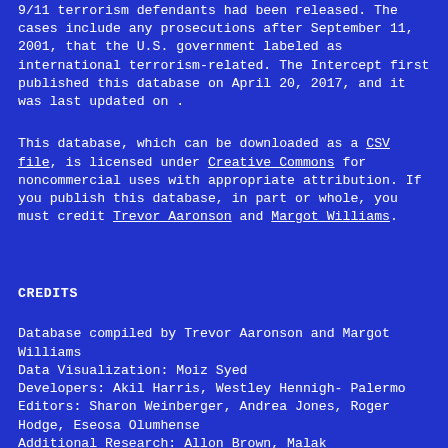9/11 terrorism defendants had been released. The cases include any prosecutions after September 11, 2001, that the U.S. government labeled as international terrorism-related. The Intercept first published this database on April 20, 2017, and it was last updated on .
This database, which can be downloaded as a CSV file, is licensed under Creative Commons for noncommercial uses with appropriate attribution. If you publish this database, in part or whole, you must credit Trevor Aaronson and Margot Williams.
CREDITS
Database compiled by Trevor Aaronson and Margot Williams
Data Visualization: Moiz Syed
Developers: Akil Harris, Westley Hennigh-Palermo
Editors: Sharon Weinberger, Andrea Jones, Roger Hodge, Eseosa Olumhense
Additional Research: Allon Brown, Malak